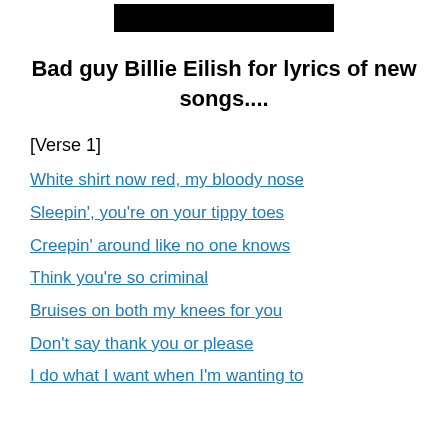[Figure (other): Black redacted/censored bar at top center of page]
Bad guy Billie Eilish for lyrics of new songs....
[Verse 1]
White shirt now red, my bloody nose
Sleepin', you're on your tippy toes
Creepin' around like no one knows
Think you're so criminal
Bruises on both my knees for you
Don't say thank you or please
I do what I want when I'm wanting to